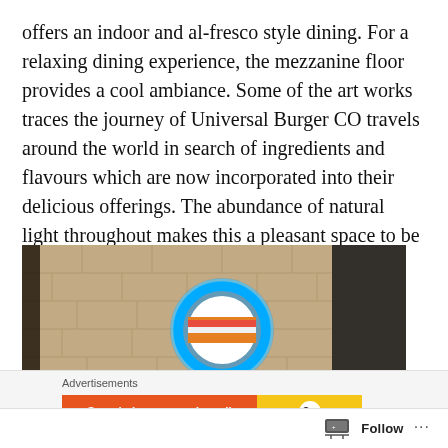offers an indoor and al-fresco style dining. For a relaxing dining experience, the mezzanine floor provides a cool ambiance. Some of the art works traces the journey of Universal Burger CO travels around the world in search of ingredients and flavours which are now incorporated into their delicious offerings. The abundance of natural light throughout makes this a pleasant space to be in.
[Figure (photo): Interior photo showing a stone brick wall with a glowing blue neon circle logo (Universal Burger CO) mounted on it, with colorful signage visible at the bottom and a dark interior visible on the right side.]
Advertisements
[Figure (screenshot): Orange advertisement banner reading 'Search, browse, and email with more privacy' with a DuckDuckGo duck logo on a yellow background.]